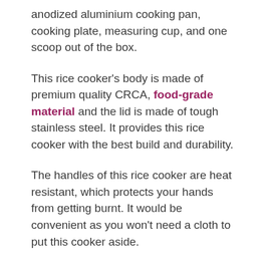anodized aluminium cooking pan, cooking plate, measuring cup, and one scoop out of the box.
This rice cooker's body is made of premium quality CRCA, food-grade material and the lid is made of tough stainless steel. It provides this rice cooker with the best build and durability.
The handles of this rice cooker are heat resistant, which protects your hands from getting burnt. It would be convenient as you won't need a cloth to put this cooker aside.